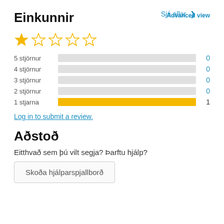Advanced view
Einkunnir
[Figure (other): Star rating display: 1 out of 5 stars filled (gold), 4 empty stars]
|  | bar | count |
| --- | --- | --- |
| 5 stjörnur |  | 0 |
| 4 stjörnur |  | 0 |
| 3 stjörnur |  | 0 |
| 2 stjörnur |  | 0 |
| 1 stjarna |  | 1 |
Log in to submit a review.
Aðstoð
Eitthvað sem þú vilt segja? Þarftu hjálp?
Skoða hjálparspjallborð